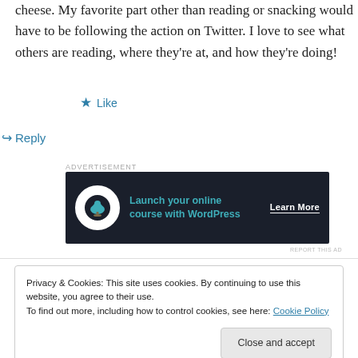cheese. My favorite part other than reading or snacking would have to be following the action on Twitter. I love to see what others are reading, where they're at, and how they're doing!
★ Like
↪ Reply
[Figure (other): Advertisement banner: dark background with tree/bonsai circle logo, teal text 'Launch your online course with WordPress', white 'Learn More' button text]
REPORT THIS AD
Privacy & Cookies: This site uses cookies. By continuing to use this website, you agree to their use.
To find out more, including how to control cookies, see here: Cookie Policy
Close and accept